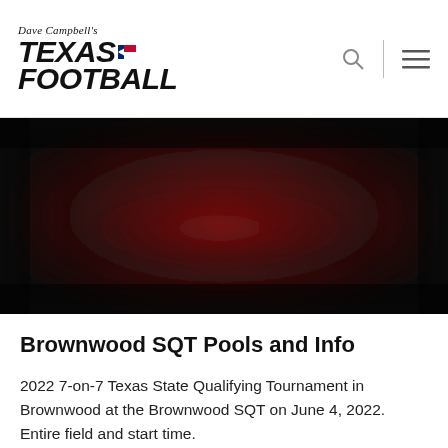Dave Campbell's Texas Football
[Figure (photo): Blurred hero image with dark background and dark red/maroon tones, showing what appears to be a blurred football field or sports scene]
Brownwood SQT Pools and Info
2022 7-on-7 Texas State Qualifying Tournament in Brownwood at the Brownwood SQT on June 4, 2022. Entire field and start time.